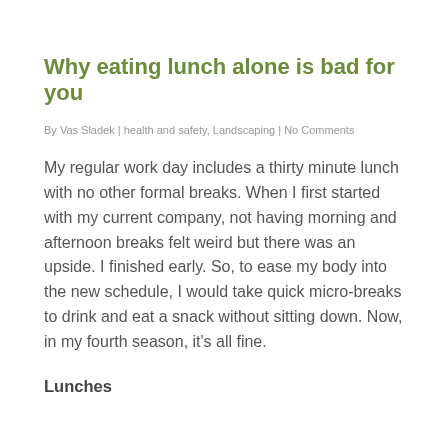Why eating lunch alone is bad for you
By Vas Sladek | health and safety, Landscaping | No Comments
My regular work day includes a thirty minute lunch with no other formal breaks. When I first started with my current company, not having morning and afternoon breaks felt weird but there was an upside. I finished early. So, to ease my body into the new schedule, I would take quick micro-breaks to drink and eat a snack without sitting down. Now, in my fourth season, it’s all fine.
Lunches